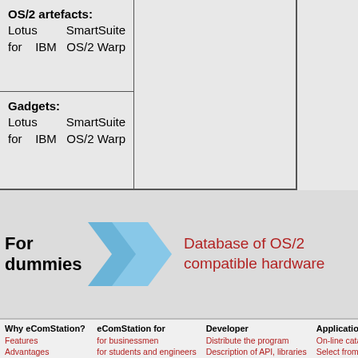| OS/2 artefacts: |  |
| --- | --- |
| Lotus SmartSuite for IBM OS/2 Warp |  |
| Gadgets: Lotus SmartSuite for IBM OS/2 Warp |  |
For dummies
[Figure (infographic): Two blue chevron/arrow shapes pointing right, indicating a process flow from 'For dummies' to 'Database of OS/2 compatible hardware']
Database of OS/2 compatible hardware
Why eComStation?
Features
Advantages
Usage
Clips and screenshots
eComStation for
for businessmen
for students and engineers
for reselles of computers
community of users
Developer
Distribute the program
Description of API, libraries
Start new project
Competition
Applicatio
On-line catalogue
Select from
eCo Marke